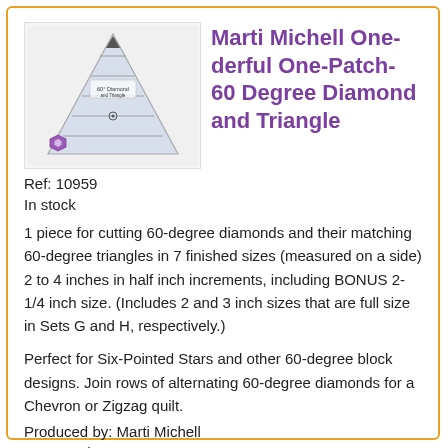[Figure (photo): Product image of Marti Michell One-derful One-Patch 60 Degree Diamond and Triangle ruler tool, showing a clear acrylic quilting ruler with measurement lines and a small hexagonal logo]
Marti Michell One-derful One-Patch- 60 Degree Diamond and Triangle
Ref: 10959
In stock
1 piece for cutting 60-degree diamonds and their matching 60-degree triangles in 7 finished sizes (measured on a side) 2 to 4 inches in half inch increments, including BONUS 2-1/4 inch size. (Includes 2 and 3 inch sizes that are full size in Sets G and H, respectively.)
Perfect for Six-Pointed Stars and other 60-degree block designs. Join rows of alternating 60-degree diamonds for a Chevron or Zigzag quilt.
Produced by: Marti Michell
Part Number: 8228
Total Price: £14.85